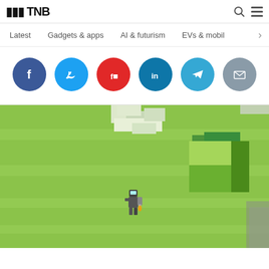TNW — Latest | Gadgets & apps | AI & futurism | EVs & mobil >
[Figure (screenshot): Social share buttons: Facebook, Twitter, Flipboard, LinkedIn, Telegram, Email]
[Figure (screenshot): A pixel-art/2D platformer game scene with green terrain and a small robot character]